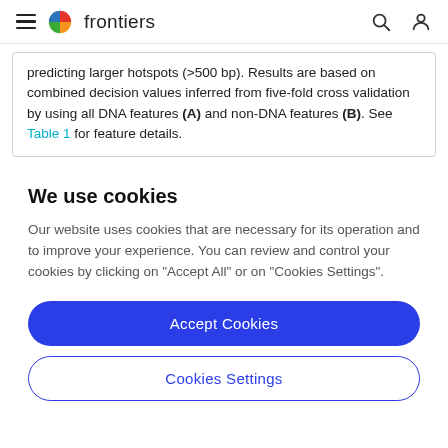frontiers
predicting larger hotspots (>500 bp). Results are based on combined decision values inferred from five-fold cross validation by using all DNA features (A) and non-DNA features (B). See Table 1 for feature details.
We use cookies
Our website uses cookies that are necessary for its operation and to improve your experience. You can review and control your cookies by clicking on "Accept All" or on "Cookies Settings".
Accept Cookies
Cookies Settings